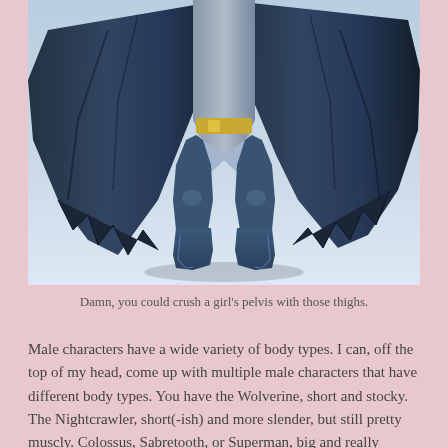[Figure (illustration): Comic book illustration of Batman from the waist down, showing muscular thighs, blue boots, and dramatic black cape spreading outward. Light blue/grey background.]
Damn, you could crush a girl's pelvis with those thighs.
Male characters have a wide variety of body types. I can, off the top of my head, come up with multiple male characters that have different body types. You have the Wolverine, short and stocky. The Nightcrawler, short(-ish) and more slender, but still pretty muscly. Colossus, Sabretooth, or Superman, big and really muscly. Cyclops, average dude height and really well-muscled, if not as hugely muscled as the Colossus